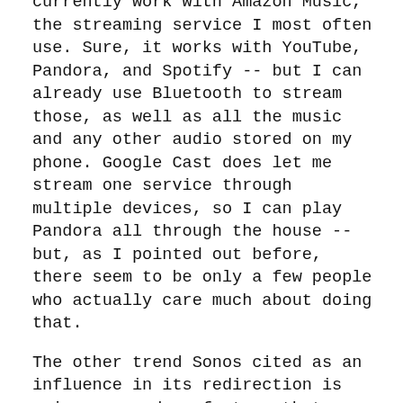currently work with Amazon Music, the streaming service I most often use. Sure, it works with YouTube, Pandora, and Spotify -- but I can already use Bluetooth to stream those, as well as all the music and any other audio stored on my phone. Google Cast does let me stream one service through multiple devices, so I can play Pandora all through the house -- but, as I pointed out before, there seem to be only a few people who actually care much about doing that.
The other trend Sonos cited as an influence in its redirection is voice command, a feature that gained public awareness through the Siri digital assistant available on Apple iPhones and iPads, and more recently through Amazon's Echo voice-controlled Bluetooth speaker. In a blog post announcing the layoffs, Sonos CEO John MacFarlane specifically cited the Echo as an indicator of what the company will focus on in the future.
As one of the few audio writers -- maybe the only one -- for whom $50 Bluetooth speakers hold as much fascination as $50,000/pair tower speakers, I often hear this question from audio manufacturers: "What should I do?" Established high-end manufacturers know that